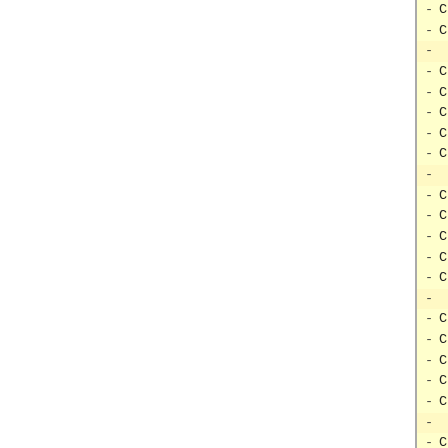- ConfURL:="http://www.kluweronline...
- ConfNote:=""
-
- ConfName:="Knowledge and Informa...
- ConfAddress:="Journal"
- ConfDeadline:=""
- ConfURL:="http://www.cs.uvm.edu/...
- ConfNote:=""
-
- ConfName:="JASIS"
- ConfAddress:="Journal"
- ConfDeadline:=""
- ConfURL:="http://www.asis.org/Pu...
- ConfNote:=""
-
- ConfName:="Information Processin...
- ConfAddress:="Journal"
- ConfDeadline:=""
- ConfURL:="http://www.elsevier.nl...
- ConfNote:=""
-
- ConfName:="IDA-2003"
- ConfAddress:="Berlin, Germany, A...
- ConfDeadline:="31-3-2003"
- ConfURL:="http://www.ida2003.org...